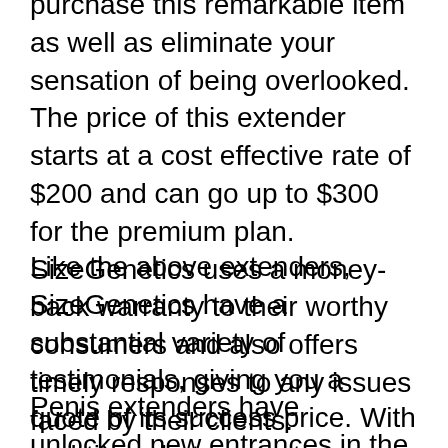purchase this remarkable item as well as eliminate your sensation of being overlooked. The price of this extender starts at a cost effective rate of $200 and can go up to $300 for the premium plan. SizeGenetics uses a money-back warranty to their worthy consumers and also offers timely responses to any issues faced by their clients.
Like the above extenders, SizeGenetics have a substantial variety of testimonials, giving you a quote of its success price. With real-time chat support, SizeGenetics sees to it all your questions are answered at a glance.
Penis extenders have unlocked new entrances in the field of medical science.